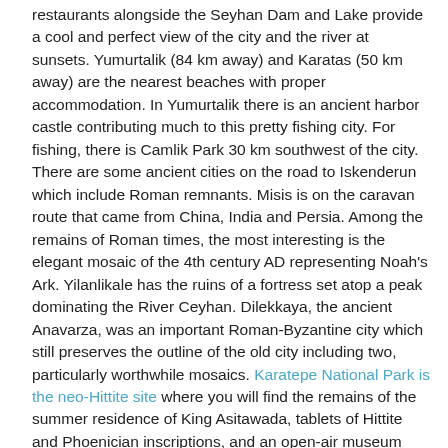restaurants alongside the Seyhan Dam and Lake provide a cool and perfect view of the city and the river at sunsets. Yumurtalik (84 km away) and Karatas (50 km away) are the nearest beaches with proper accommodation. In Yumurtalik there is an ancient harbor castle contributing much to this pretty fishing city. For fishing, there is Camlik Park 30 km southwest of the city. There are some ancient cities on the road to Iskenderun which include Roman remnants. Misis is on the caravan route that came from China, India and Persia. Among the remains of Roman times, the most interesting is the elegant mosaic of the 4th century AD representing Noah's Ark. Yilanlikale has the ruins of a fortress set atop a peak dominating the River Ceyhan. Dilekkaya, the ancient Anavarza, was an important Roman-Byzantine city which still preserves the outline of the old city including two, particularly worthwhile mosaics. Karatepe National Park is the neo-Hittite site where you will find the remains of the summer residence of King Asitawada, tablets of Hittite and Phoenician inscriptions, and an open-air museum holding many remnants. Castabala and Toprakkale are the other historical remains. Karsan Forest, Burucek, Tekir, Horzum, Zorkum meadows are ideal for picnicking and resting.